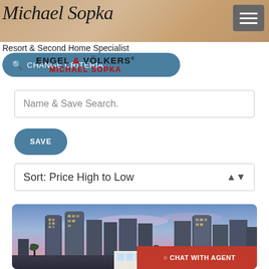Michael Sopka
Resort & Second Home Specialist
[Figure (logo): Engel & Völkers logo with MICHAEL SOPKA text below]
CHANGE CRITERIA
Name & Save Search.
SAVE
Sort: Price High to Low
[Figure (photo): Aerial/skyline view of high-rise condominium buildings at dusk with palm trees in foreground]
CHAT WITH AGENT